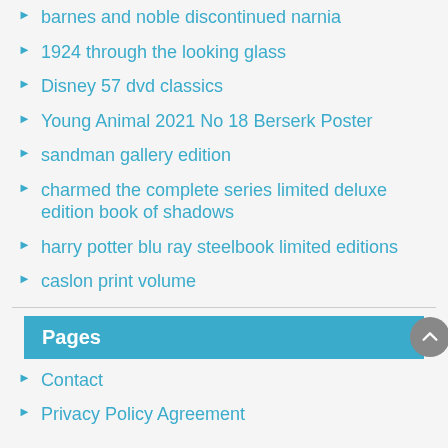barnes and noble discontinued narnia
1924 through the looking glass
Disney 57 dvd classics
Young Animal 2021 No 18 Berserk Poster
sandman gallery edition
charmed the complete series limited deluxe edition book of shadows
harry potter blu ray steelbook limited editions
caslon print volume
Pages
Contact
Privacy Policy Agreement